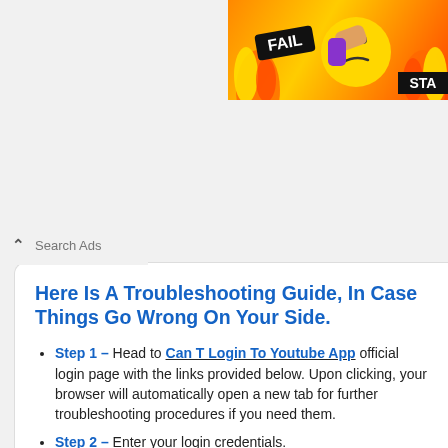[Figure (illustration): Advertisement banner with FAIL text badge, cartoon face emoji, flames, and STA text on orange-yellow background]
Search Ads
Here Is A Troubleshooting Guide, In Case Things Go Wrong On Your Side.
Step 1 – Head to Can T Login To Youtube App official login page with the links provided below. Upon clicking, your browser will automatically open a new tab for further troubleshooting procedures if you need them.
Step 2 – Enter your login credentials.